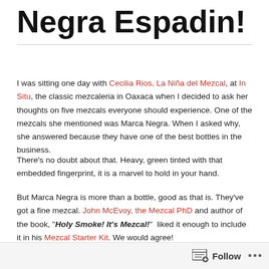Negra Espadin!
I was sitting one day with Cecilia Rios, La Niña del Mezcal, at In Situ, the classic mezcaleria in Oaxaca when I decided to ask her thoughts on five mezcals everyone should experience. One of the mezcals she mentioned was Marca Negra. When I asked why, she answered because they have one of the best bottles in the business.
There's no doubt about that. Heavy, green tinted with that embedded fingerprint, it is a marvel to hold in your hand.
But Marca Negra is more than a bottle, good as that is. They've got a fine mezcal. John McEvoy, the Mezcal PhD and author of the book, "Holy Smoke! It's Mezcal!" liked it enough to include it in his Mezcal Starter Kit. We would agree!
Follow